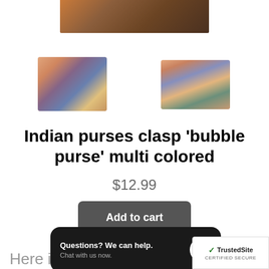[Figure (photo): Top portion of a colorful Indian bubble purse shown against a wooden background]
[Figure (photo): Left thumbnail image of Indian clasp bubble purse, circular shape with colorful pattern]
[Figure (photo): Right thumbnail image of Indian clasp bubble purse, rectangular shape with colorful pattern]
Indian purses clasp 'bubble purse' multi colored
$12.99
Add to cart
Here is a lo... G Rewards Tiers and the new IHG One Rewar...
Questions? We can help. Chat with us now.